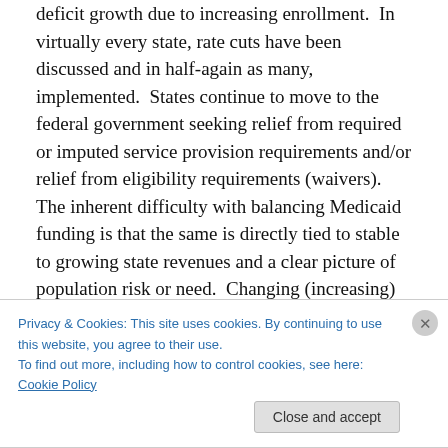deficit growth due to increasing enrollment. In virtually every state, rate cuts have been discussed and in half-again as many, implemented. States continue to move to the federal government seeking relief from required or imputed service provision requirements and/or relief from eligibility requirements (waivers). The inherent difficulty with balancing Medicaid funding is that the same is directly tied to stable to growing state revenues and a clear picture of population risk or need. Changing (increasing) populations often present adverse-risk scenarios, creating higher than normative utilization. For obvious reasons,
Privacy & Cookies: This site uses cookies. By continuing to use this website, you agree to their use.
To find out more, including how to control cookies, see here: Cookie Policy